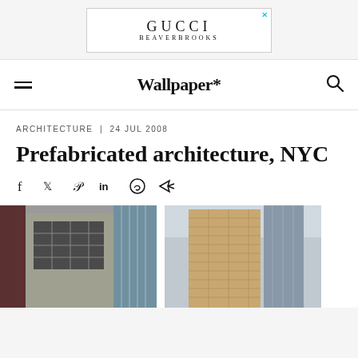[Figure (logo): GUCCI BEAVERBROOKS advertisement banner with close button]
Wallpaper*
ARCHITECTURE | 24 JUL 2008
Prefabricated architecture, NYC
[Figure (photo): Two architectural photos of prefabricated buildings in NYC: left shows a concrete building facade with grid windows; right shows a tall brick/tan tower building]
[Figure (infographic): Social sharing icons: Facebook, Twitter, Pinterest, LinkedIn, WhatsApp, Share]